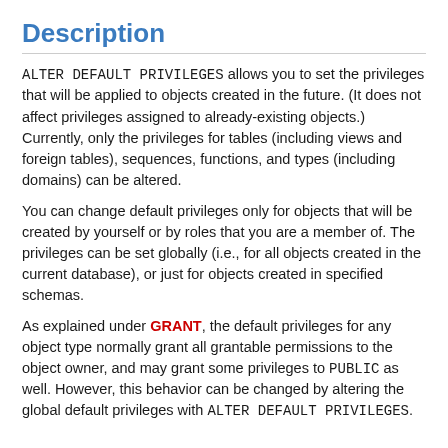Description
ALTER DEFAULT PRIVILEGES allows you to set the privileges that will be applied to objects created in the future. (It does not affect privileges assigned to already-existing objects.) Currently, only the privileges for tables (including views and foreign tables), sequences, functions, and types (including domains) can be altered.
You can change default privileges only for objects that will be created by yourself or by roles that you are a member of. The privileges can be set globally (i.e., for all objects created in the current database), or just for objects created in specified schemas.
As explained under GRANT, the default privileges for any object type normally grant all grantable permissions to the object owner, and may grant some privileges to PUBLIC as well. However, this behavior can be changed by altering the global default privileges with ALTER DEFAULT PRIVILEGES.